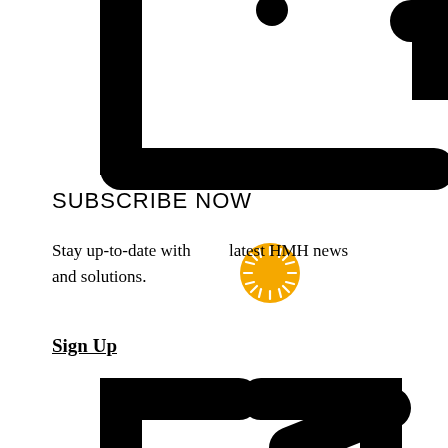[Figure (illustration): Large black rounded-corner square bracket / box icon (top portion visible, cropped) — appears to be a UI or UI component icon in black on white]
SUBSCRIBE NOW
Stay up-to-date with the latest HMH news and solutions.
Sign Up
[Figure (illustration): Large black rounded-corner external link / arrow icon (bottom portion visible, cropped) — two bracket corners with diagonal arrow pointing upper-right]